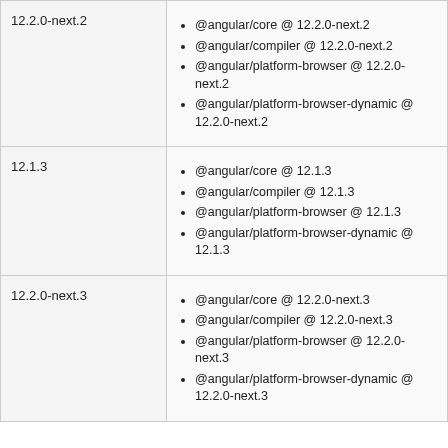| Version | Packages |
| --- | --- |
| 12.2.0-next.2 | @angular/core @ 12.2.0-next.2
@angular/compiler @ 12.2.0-next.2
@angular/platform-browser @ 12.2.0-next.2
@angular/platform-browser-dynamic @ 12.2.0-next.2 |
| 12.1.3 | @angular/core @ 12.1.3
@angular/compiler @ 12.1.3
@angular/platform-browser @ 12.1.3
@angular/platform-browser-dynamic @ 12.1.3 |
| 12.2.0-next.3 | @angular/core @ 12.2.0-next.3
@angular/compiler @ 12.2.0-next.3
@angular/platform-browser @ 12.2.0-next.3
@angular/platform-browser-dynamic @ 12.2.0-next.3 |